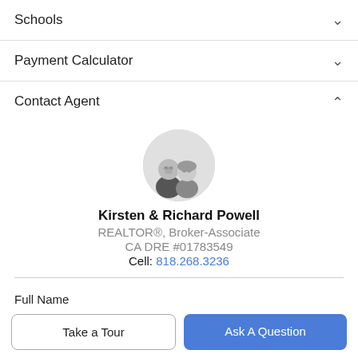Schools
Payment Calculator
Contact Agent
[Figure (photo): Circular headshot photo of two real estate agents, a bald man in a dark suit and a woman with glasses]
Kirsten & Richard Powell
REALTOR®, Broker-Associate
CA DRE #01783549
Cell: 818.268.3236
Full Name
Take a Tour
Ask A Question